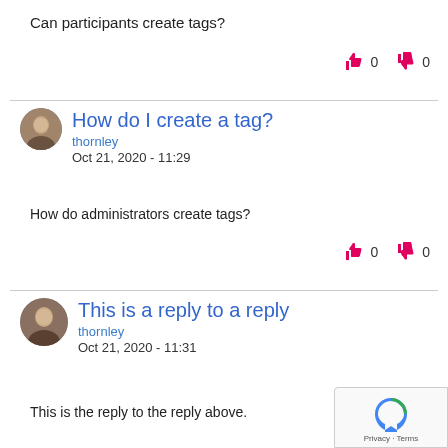Can participants create tags?
👍 0  👎 0
How do I create a tag?
thornley
Oct 21, 2020 - 11:29
How do administrators create tags?
👍 0  👎 0
This is a reply to a reply
thornley
Oct 21, 2020 - 11:31
This is the reply to the reply above.